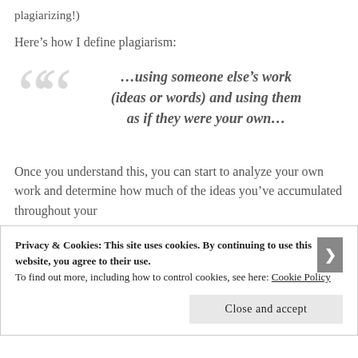plagiarizing!)
Here’s how I define plagiarism:
…using someone else’s work (ideas or words) and using them as if they were your own…
Once you understand this, you can start to analyze your own work and determine how much of the ideas you’ve accumulated throughout your
Privacy & Cookies: This site uses cookies. By continuing to use this website, you agree to their use.
To find out more, including how to control cookies, see here: Cookie Policy
Close and accept